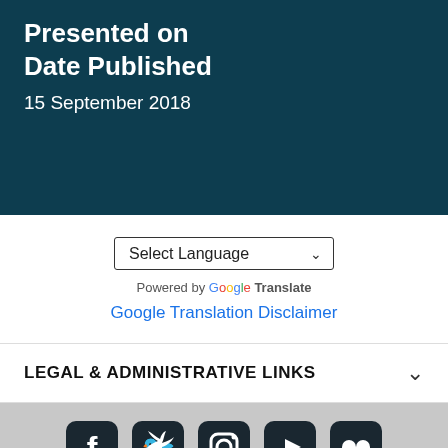Presented on
Date Published
15 September 2018
[Figure (screenshot): Select Language dropdown with Google Translate branding and Google Translation Disclaimer link]
LEGAL & ADMINISTRATIVE LINKS
[Figure (infographic): Social media icons: Facebook, Twitter, Instagram, YouTube, Flickr, Pinterest, Blogger, Snapchat]
U.S. Navy Office of